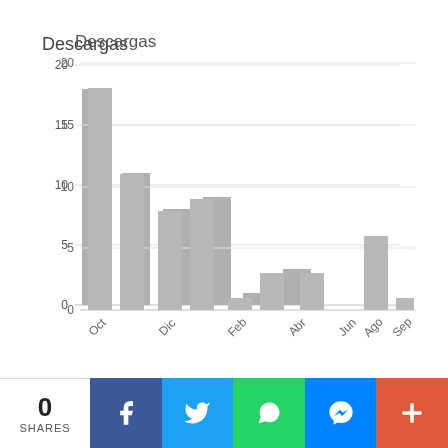[Figure (bar-chart): Descargas]
0 SHARES